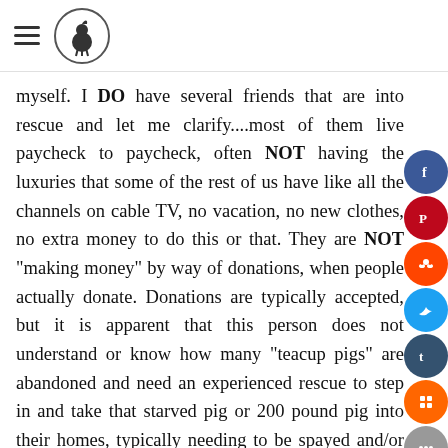[hamburger menu icon] [logo: bird silhouette in circle]
myself. I DO have several friends that are into rescue and let me clarify....most of them live paycheck to paycheck, often NOT having the luxuries that some of the rest of us have like all the channels on cable TV, no vacation, no new clothes, no extra money to do this or that. They are NOT "making money" by way of donations, when people actually donate. Donations are typically accepted, but it is apparent that this person does not understand or know how many "teacup pigs" are abandoned and need an experienced rescue to step in and take that starved pig or 200 pound pig into their homes, typically needing to be spayed and/or neutered because the "backyard breeder" doesn't tell them how important that part is either. Bringing a pig